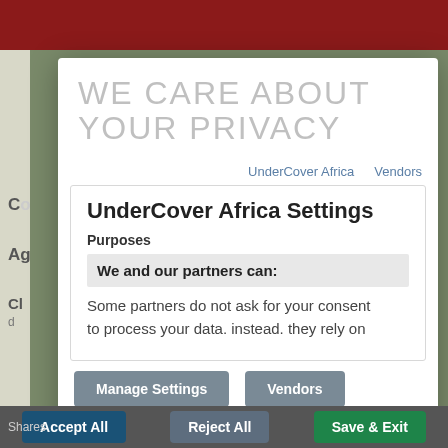[Figure (screenshot): Background of a website with dark red top bar, olive/grey sidebar, and dark bottom bar with navigation buttons. Left side shows partial text items.]
WE CARE ABOUT YOUR PRIVACY
UnderCover Africa   Vendors
UnderCover Africa Settings
Purposes
We and our partners can:
Some partners do not ask for your consent to process your data. instead. they rely on
Manage Settings   Vendors
Shares   Accept All   Reject All   Save & Exit